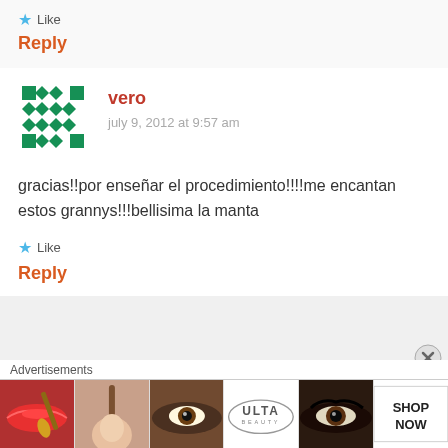Like
Reply
[Figure (other): User avatar identicon for vero — green pixel/diamond pattern on white background]
vero
july 9, 2012 at 9:57 am
gracias!!por enseñar el procedimiento!!!!me encantan estos grannys!!!bellisima la manta
Like
Reply
[Figure (infographic): Advertisement banner with beauty/makeup images and ULTA logo with SHOP NOW text]